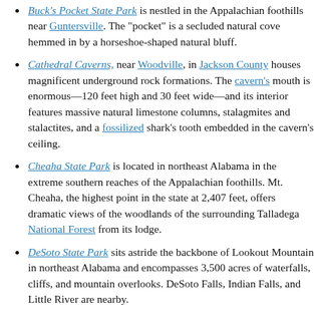Buck's Pocket State Park is nestled in the Appalachian foothills near Guntersville. The "pocket" is a secluded natural cove hemmed in by a horseshoe-shaped natural bluff.
Cathedral Caverns, near Woodville, in Jackson County houses magnificent underground rock formations. The cavern's mouth is enormous—120 feet high and 30 feet wide—and its interior features massive natural limestone columns, stalagmites and stalactites, and a fossilized shark's tooth embedded in the cavern's ceiling.
Cheaha State Park is located in northeast Alabama in the extreme southern reaches of the Appalachian foothills. Mt. Cheaha, the highest point in the state at 2,407 feet, offers dramatic views of the woodlands of the surrounding Talladega National Forest from its lodge.
DeSoto State Park sits astride the backbone of Lookout Mountain in northeast Alabama and encompasses 3,500 acres of waterfalls, cliffs, and mountain overlooks. DeSoto Falls, Indian Falls, and Little River are nearby.
Gulf State Park has two miles of white sand beaches, dunes, sparkling views of the Gulf of Mexico, and